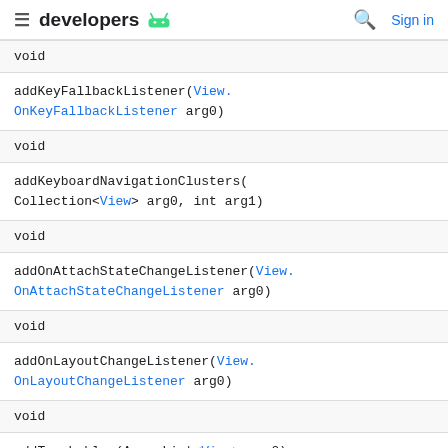≡ developers 🤖   🔍  Sign in
| return type | method |
| --- | --- |
| void | addKeyFallbackListener(View.OnKeyFallbackListener arg0) |
| void | addKeyboardNavigationClusters(Collection<View> arg0, int arg1) |
| void | addOnAttachStateChangeListener(View.OnAttachStateChangeListener arg0) |
| void | addOnLayoutChangeListener(View.OnLayoutChangeListener arg0) |
| void | addTouchables(ArrayList<View> arg0) |